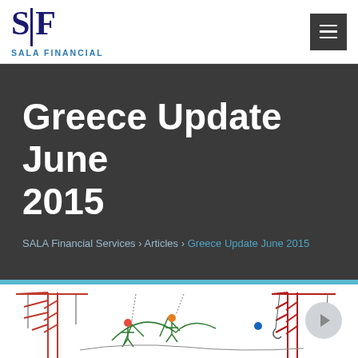SALA FINANCIAL
Greece Update June 2015
SALA Financial Services › Articles › Greece Update June 2015
[Figure (illustration): Industrial crane illustration with construction workers and equipment in sketch/line-art style]